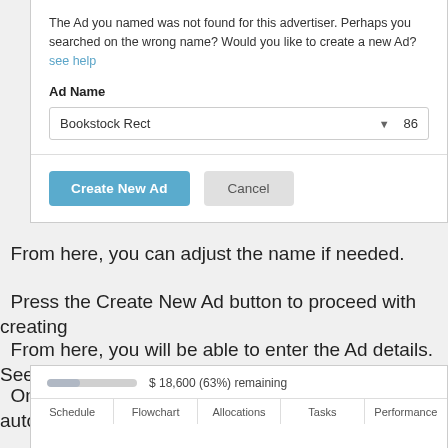[Figure (screenshot): Dialog box showing 'Ad Name' field with 'Bookstock Rect' dropdown value and '86', with 'Create New Ad' and 'Cancel' buttons at bottom]
The Ad you named was not found for this advertiser. Perhaps you searched on the wrong name? Would you like to create a new Ad? see help
From here, you can adjust the name if needed.
Press the Create New Ad button to proceed with creating
From here, you will be able to enter the Ad details. See i
Once set up has been completed, the Ad will automatica
[Figure (screenshot): Bottom portion of a UI panel showing a progress bar with '$ 18,600 (63%) remaining' and tab row with Schedule, Flowchart, Allocations, Tasks, Performance]